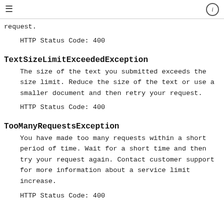≡   ⓘ
request.
HTTP Status Code: 400
TextSizeLimitExceededException
The size of the text you submitted exceeds the size limit. Reduce the size of the text or use a smaller document and then retry your request.
HTTP Status Code: 400
TooManyRequestsException
You have made too many requests within a short period of time. Wait for a short time and then try your request again. Contact customer support for more information about a service limit increase.
HTTP Status Code: 400